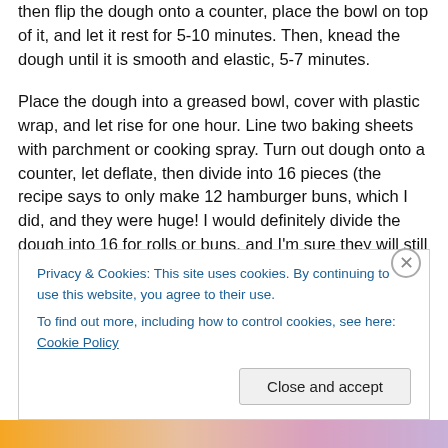then flip the dough onto a counter, place the bowl on top of it, and let it rest for 5-10 minutes. Then, knead the dough until it is smooth and elastic, 5-7 minutes.
Place the dough into a greased bowl, cover with plastic wrap, and let rise for one hour. Line two baking sheets with parchment or cooking spray. Turn out dough onto a counter, let deflate, then divide into 16 pieces (the recipe says to only make 12 hamburger buns, which I did, and they were huge! I would definitely divide the dough into 16 for rolls or buns, and I'm sure they will still be quite sizeable). Shape any way you want (for buns, pull the
Privacy & Cookies: This site uses cookies. By continuing to use this website, you agree to their use.
To find out more, including how to control cookies, see here: Cookie Policy